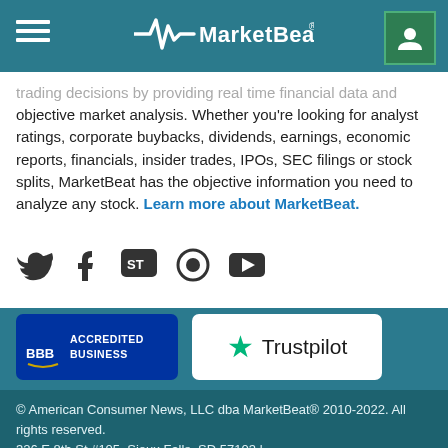MarketBeat
trading decisions by providing real time financial data and objective market analysis. Whether you're looking for analyst ratings, corporate buybacks, dividends, earnings, economic reports, financials, insider trades, IPOs, SEC filings or stock splits, MarketBeat has the objective information you need to analyze any stock. Learn more about MarketBeat.
[Figure (other): Social media icons: Twitter, Facebook, StockTwits, a circular icon, YouTube]
[Figure (logo): BBB Accredited Business badge]
[Figure (logo): Trustpilot badge with green star]
© American Consumer News, LLC dba MarketBeat® 2010-2022. All rights reserved.
326 E 8th St #105, Sioux Falls, SD 57103 | contact@marketbeat.com | (844) 978-6257
MarketBeat does not provide personalized financial advice and does not issue recommendations or offers to buy stock or sell